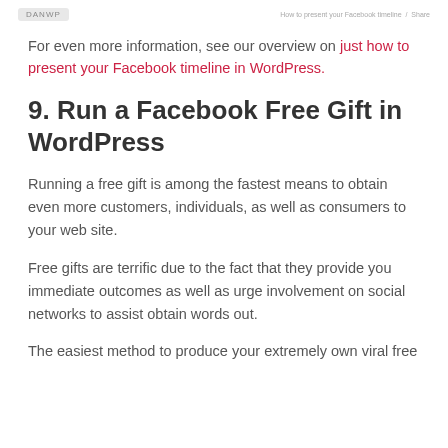DANWP | How to present your Facebook timeline / Share
For even more information, see our overview on just how to present your Facebook timeline in WordPress.
9. Run a Facebook Free Gift in WordPress
Running a free gift is among the fastest means to obtain even more customers, individuals, as well as consumers to your web site.
Free gifts are terrific due to the fact that they provide you immediate outcomes as well as urge involvement on social networks to assist obtain words out.
The easiest method to produce your extremely own viral free